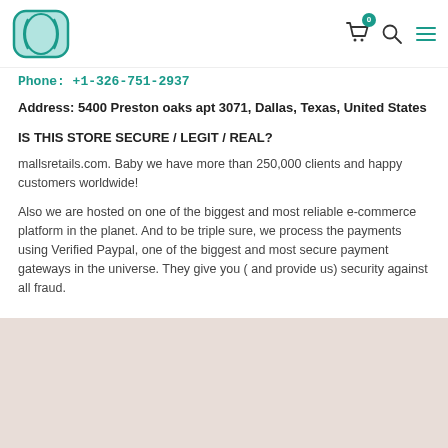mallsretails.com logo, cart (0), search, menu icons
Phone: +1-326-751-2937
Address: 5400 Preston oaks apt 3071, Dallas, Texas, United States
IS THIS STORE SECURE / LEGIT / REAL?
mallsretails.com. Baby we have more than 250,000 clients and happy customers worldwide!
Also we are hosted on one of the biggest and most reliable e-commerce platform in the planet. And to be triple sure, we process the payments using Verified Paypal, one of the biggest and most secure payment gateways in the universe. They give you ( and provide us) security against all fraud.